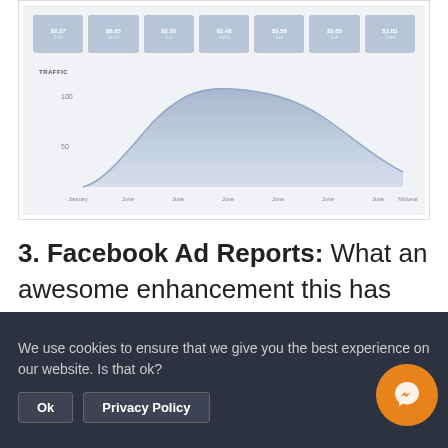[Figure (screenshot): Screenshot of a Facebook analytics dashboard showing metric cards (LEADS section with 7 metric tiles showing values like $2.37, $8.65, $2.20, $3.48, $3.58, $3.85, $3.83) and a TRAFFIC area chart below showing trend over time from January to midyear and back down]
3. Facebook Ad Reports: What an awesome enhancement this has been! I never used the old Facebook ad reports — or not intentionally. The new ones? Life changing. It's amazing how easy it is to see
We use cookies to ensure that we give you the best experience on our website. Is that ok?